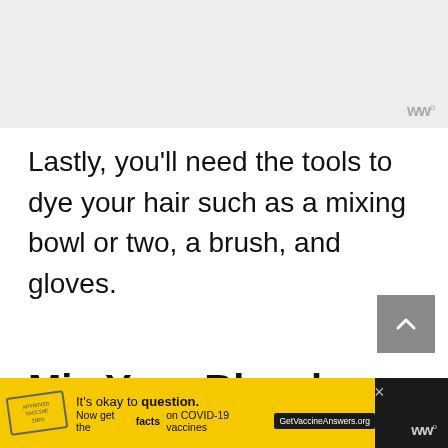[Figure (photo): Light gray placeholder image area at top of page]
Lastly, you'll need the tools to dye your hair such as a mixing bowl or two, a brush, and gloves.
Mix Your Bleach and Developer
[Figure (other): Advertisement banner: yellow background with stamp logo, text 'It's okay to question. Now get the facts on COVID-19 vaccines GetVaccineAnswers.org']